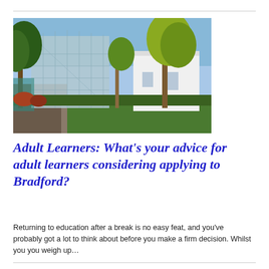[Figure (photo): Outdoor photograph of a university campus building with a modern glass and steel structure on the left and a white building on the right, surrounded by trees and green lawn on a sunny day.]
Adult Learners: What's your advice for adult learners considering applying to Bradford?
Returning to education after a break is no easy feat, and you've probably got a lot to think about before you make a firm decision. Whilst you you weigh up…